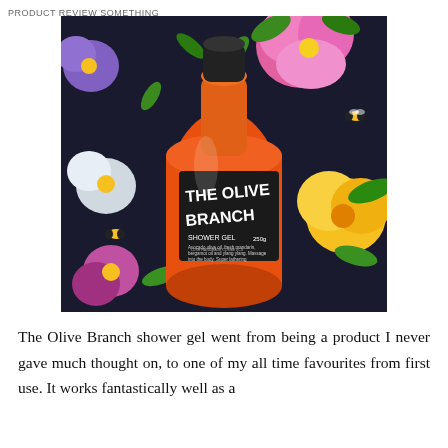PRODUCT REVIEW SOMETHING
[Figure (photo): Photo of a Lush 'The Olive Branch' shower gel (250g) in an orange bottle, lying on a dark floral fabric background with colorful flowers (pink, yellow, white, purple) and bees.]
The Olive Branch shower gel went from being a product I never gave much thought on, to one of my all time favourites from first use. It works fantastically well as a